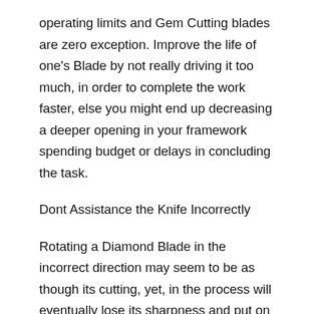operating limits and Gem Cutting blades are zero exception. Improve the life of one's Blade by not really driving it too much, in order to complete the work faster, else you might end up decreasing a deeper opening in your framework spending budget or delays in concluding the task.
Dont Assistance the Knife Incorrectly
Rotating a Diamond Blade in the incorrect direction may seem to be as though its cutting, yet, in the process will eventually lose its sharpness and put on quickly. Always reference the guidelines mentioned around the decreasing Knife before mounting it onto these devices. Second, work the Gem Knife in the provided speed without Insert for a minumum of one minute to judge for virtually any issues.